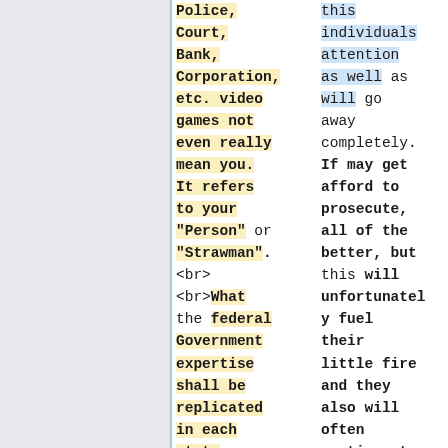Police, Court, Bank, Corporation, etc. video games not even really mean you. It refers to your "Person" or "Strawman". <br> <br>What the federal Government expertise shall be replicated in each state as they quite
this individuals attention as well as will go away completely. If may get afford to prosecute, all of the better, but this will unfortunately fuel their little fire and they also will often continue to spread the